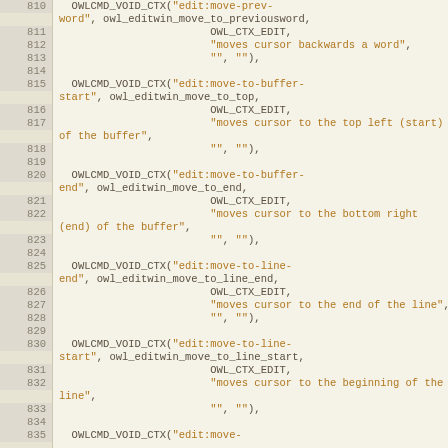[Figure (screenshot): Source code editor view showing C code lines 810–835 with line numbers on the left. Code contains OWLCMD_VOID_CTX macro calls for editing commands. String literals are highlighted in orange/amber, regular code in dark brown/olive. Background is light beige.]